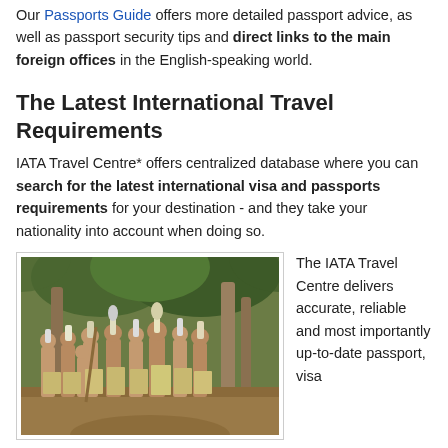Our Passports Guide offers more detailed passport advice, as well as passport security tips and direct links to the main foreign offices in the English-speaking world.
The Latest International Travel Requirements
IATA Travel Centre* offers centralized database where you can search for the latest international visa and passports requirements for your destination - and they take your nationality into account when doing so.
[Figure (photo): Group of indigenous people in traditional dress and headdresses standing in a forest setting]
The IATA Travel Centre delivers accurate, reliable and most importantly up-to-date passport, visa